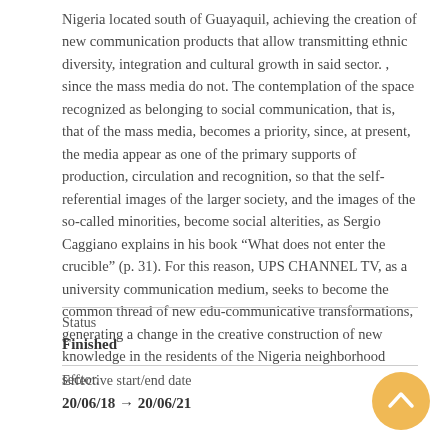Nigeria located south of Guayaquil, achieving the creation of new communication products that allow transmitting ethnic diversity, integration and cultural growth in said sector. , since the mass media do not. The contemplation of the space recognized as belonging to social communication, that is, that of the mass media, becomes a priority, since, at present, the media appear as one of the primary supports of production, circulation and recognition, so that the self-referential images of the larger society, and the images of the so-called minorities, become social alterities, as Sergio Caggiano explains in his book “What does not enter the crucible” (p. 31). For this reason, UPS CHANNEL TV, as a university communication medium, seeks to become the common thread of new edu-communicative transformations, generating a change in the creative construction of new knowledge in the residents of the Nigeria neighborhood sector.
Status
Finished
Effective start/end date
20/06/18 → 20/06/21
[Figure (other): Circular gold/yellow scroll-to-top button with upward chevron arrow icon]